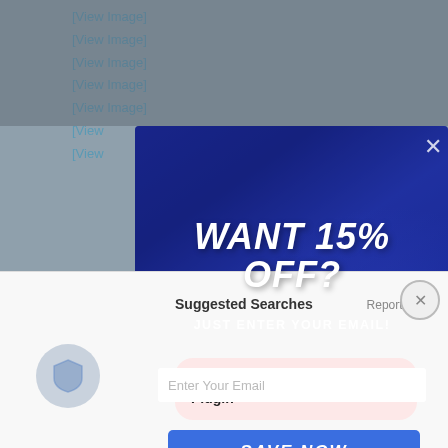[Figure (screenshot): Background webpage with [View Image] links visible]
[Figure (screenshot): Modal popup overlay with dark blue photo background showing hands on keyboard]
WANT 15% OFF?
JUST ENTER YOUR EMAIL!
Enter Your Email
SAVE NOW
Suggested Searches
Report an ad
Gracenote Tools Winamp Plugin